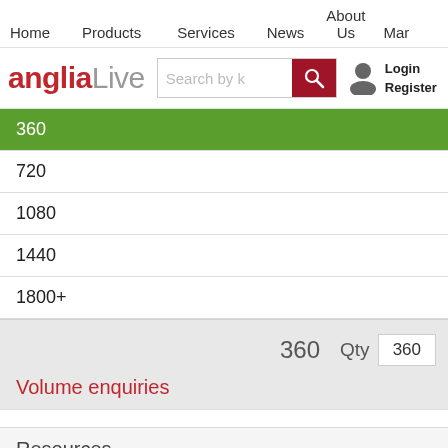Home   Products   Services   News   About Us   Mar...
[Figure (screenshot): angliaLive logo with search bar showing 'Search by k...' and a red search button, plus login/register user area]
360 (selected, green highlight)
720
1080
1440
1800+
360
Qty  360
Volume enquiries
Resources